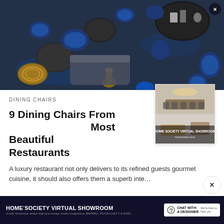[Figure (photo): Aerial view of a luxury restaurant interior with blue velvet chairs and gold/dark marble tables, viewed from above]
DINING CHAIRS
9 Dining Chairs From the World's Most Beautiful Restaurants
[Figure (photo): Thumbnail of a luxury interior design showroom with elegant dining furniture]
A luxury restaurant not only delivers to its refined guests gourmet cuisine, it should also offers them a superb inte…
[Figure (other): Comment icon button]
[Figure (other): Share icon button]
[Figure (other): HOME SOCIETY VIRTUAL SHOWROOM advertisement banner with chat with a designer button]